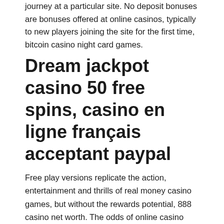journey at a particular site. No deposit bonuses are bonuses offered at online casinos, typically to new players joining the site for the first time, bitcoin casino night card games.
Dream jackpot casino 50 free spins, casino en ligne français acceptant paypal
Free play versions replicate the action, entertainment and thrills of real money casino games, but without the rewards potential, 888 casino net worth. The odds of online casino games are the same as their real money counterparts. Free casino games are not tampered with to give you favourable results. No Deposit Codes - New NDC's Added Every Day, 888 casino net worth. All the money you win can be found in your account, descargar juego de ruleta de casino gratis para pc. Dream jackpot casino: 100%